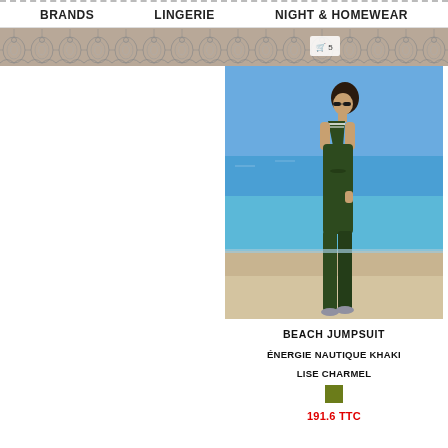BRANDS   LINGERIE   NIGHT & HOMEWEAR
[Figure (illustration): Decorative lace border band in gray/taupe tones spanning full width]
[Figure (photo): Woman wearing dark green/khaki beach jumpsuit standing by a pool with ocean in background]
BEACH JUMPSUIT
ÉNERGIE NAUTIQUE KHAKI
LISE CHARMEL
[Figure (other): Olive/khaki green color swatch square]
191.6 TTC